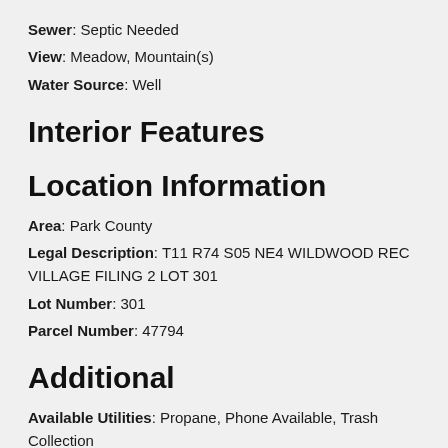Sewer: Septic Needed
View: Meadow, Mountain(s)
Water Source: Well
Interior Features
Location Information
Area: Park County
Legal Description: T11 R74 S05 NE4 WILDWOOD REC VILLAGE FILING 2 LOT 301
Lot Number: 301
Parcel Number: 47794
Additional
Available Utilities: Propane, Phone Available, Trash Collection